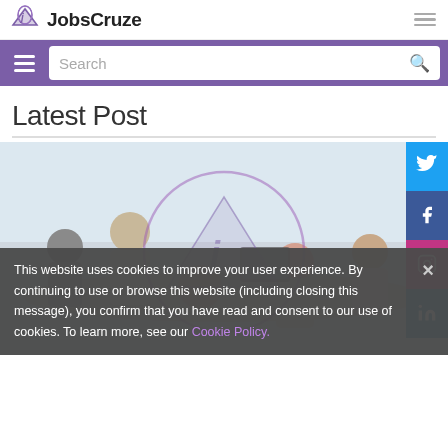JobsCruze
Latest Post
[Figure (screenshot): Photo of a group of office workers having a meeting at a conference table, with a JobsCruze watermark/logo overlay in the center of the image. A JobsCruze banner is visible in the background.]
This website uses cookies to improve your user experience. By continuing to use or browse this website (including closing this message), you confirm that you have read and consent to our use of cookies. To learn more, see our Cookie Policy.